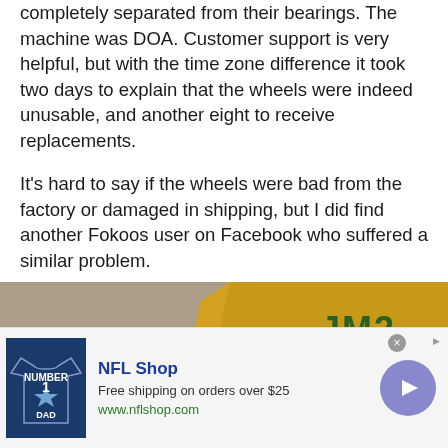completely separated from their bearings. The machine was DOA. Customer support is very helpful, but with the time zone difference it took two days to explain that the wheels were indeed unusable, and another eight to receive replacements.
It's hard to say if the wheels were bad from the factory or damaged in shipping, but I did find another Fokoos user on Facebook who suffered a similar problem.
[Figure (photo): Photo of a white box labeled FOKOOS 3D PRINTER ACCESSORIES on a concrete surface, with a yellow padded envelope marked JM2 in the background, and plastic bags with printer parts scattered around.]
[Figure (other): NFL Shop advertisement banner. Shows a Dallas Cowboys jersey on the left, text 'NFL Shop', 'Free shipping on orders over $25', 'www.nflshop.com', and a purple circular arrow button on the right.]